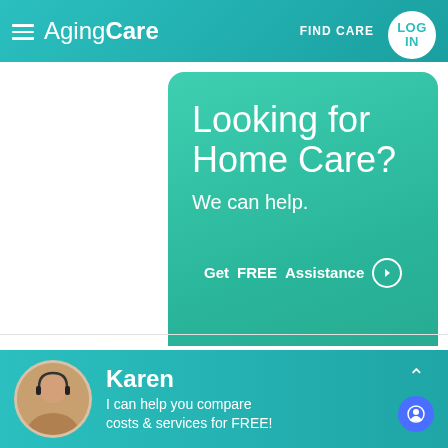AgingCare — FIND CARE — LOG IN
[Figure (infographic): Teal promotional card with text 'Looking for Home Care? We can help.' and 'Get FREE Assistance' button]
ferris1
[Figure (infographic): Karen chat widget bar: 'Karen - I can help you compare costs & services for FREE!']